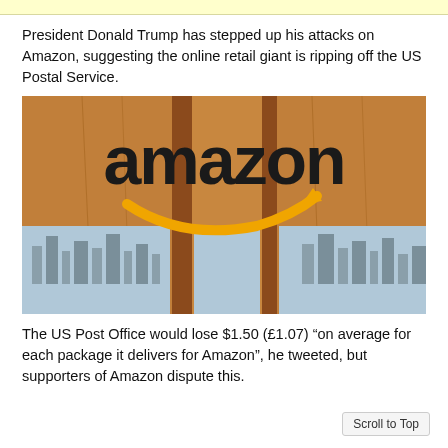President Donald Trump has stepped up his attacks on Amazon, suggesting the online retail giant is ripping off the US Postal Service.
[Figure (photo): Amazon logo sign on a wooden wall with city buildings visible through glass windows below]
The US Post Office would lose $1.50 (£1.07) “on average for each package it delivers for Amazon”, he tweeted, but supporters of Amazon dispute this.
Scroll to Top